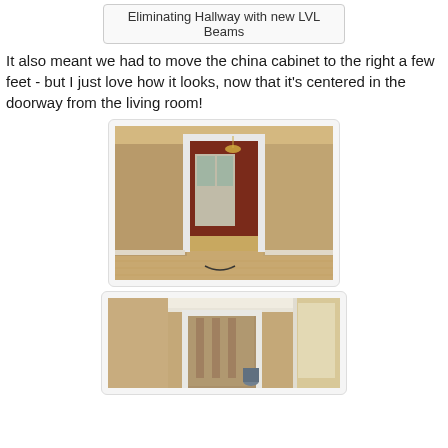Eliminating Hallway with new LVL Beams
It also meant we had to move the china cabinet to the right a few feet - but I just love how it looks, now that it's centered in the doorway from the living room!
[Figure (photo): Interior room photo showing a doorway with white trim leading into a dining room with red/maroon walls, a china cabinet, hardwood floors, and a chandelier.]
[Figure (photo): Interior room photo showing a room under renovation with tan/beige walls, white crown molding, a doorway with construction framing visible beyond, and a window on the right.]